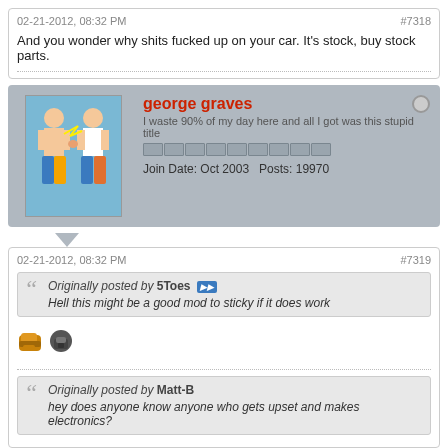02-21-2012, 08:32 PM
#7318
And you wonder why shits fucked up on your car. It's stock, buy stock parts.
[Figure (other): Forum user avatar showing two cartoon figures]
george graves
I waste 90% of my day here and all I got was this stupid title
Join Date: Oct 2003   Posts: 19970
02-21-2012, 08:32 PM
#7319
Originally posted by 5Toes
Hell this might be a good mod to sticky if it does work
[Figure (other): Small emoji/smiley icons]
Originally posted by Matt-B
hey does anyone know anyone who gets upset and makes electronics?